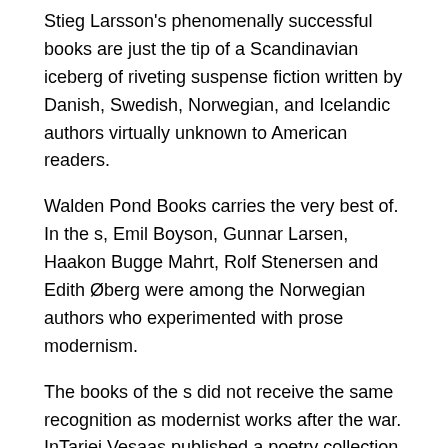Stieg Larsson's phenomenally successful books are just the tip of a Scandinavian iceberg of riveting suspense fiction written by Danish, Swedish, Norwegian, and Icelandic authors virtually unknown to American readers.
Walden Pond Books carries the very best of. In the s, Emil Boyson, Gunnar Larsen, Haakon Bugge Mahrt, Rolf Stenersen and Edith Øberg were among the Norwegian authors who experimented with prose modernism.
The books of the s did not receive the same recognition as modernist works after the war. InTarjei Vesaas published a poetry collection.
Lists by century. Notable 20th-century writers; 21st-century writers; Lists of women writers and works Main list. Women writers; By country. Writing a book review is not the same as writing a book report or a summary. A book review is a critical analysis of a published work that assesses the work's strengths and weaknesses.
Many authors strive to have their books reviewed by a professional